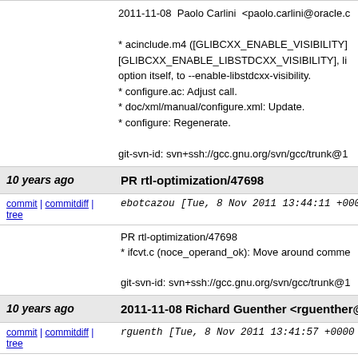2011-11-08  Paolo Carlini  <paolo.carlini@oracle.c...

* acinclude.m4 ([GLIBCXX_ENABLE_VISIBILITY]...
[GLIBCXX_ENABLE_LIBSTDCXX_VISIBILITY], li...
option itself, to --enable-libstdcxx-visibility.
* configure.ac: Adjust call.
* doc/xml/manual/configure.xml: Update.
* configure: Regenerate.

git-svn-id: svn+ssh://gcc.gnu.org/svn/gcc/trunk@1...
10 years ago | PR rtl-optimization/47698
commit | commitdiff | tree
ebotcazou [Tue, 8 Nov 2011 13:44:11 +000...
PR rtl-optimization/47698
* ifcvt.c (noce_operand_ok): Move around comme...

git-svn-id: svn+ssh://gcc.gnu.org/svn/gcc/trunk@1...
10 years ago | 2011-11-08 Richard Guenther <rguenther@sus...
commit | commitdiff | tree
rguenth [Tue, 8 Nov 2011 13:41:57 +0000...
2011-11-08  Richard Guenther  <rguenther@suse...

PR lto/50999
* lto-opts.c (append_to_collect_gcc_options): Coli...